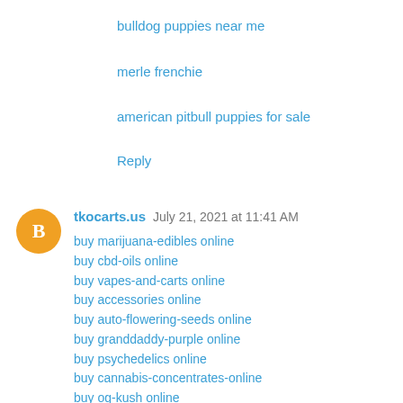bulldog puppies near me
merle frenchie
american pitbull puppies for sale
Reply
tkocarts.us  July 21, 2021 at 11:41 AM
buy marijuana-edibles online
buy cbd-oils online
buy vapes-and-carts online
buy accessories online
buy auto-flowering-seeds online
buy granddaddy-purple online
buy psychedelics online
buy cannabis-concentrates-online
buy og-kush online
buy dmt-nn-dimethyltryptamine online
buy blue-cheese-weed online
buy purple-haze online